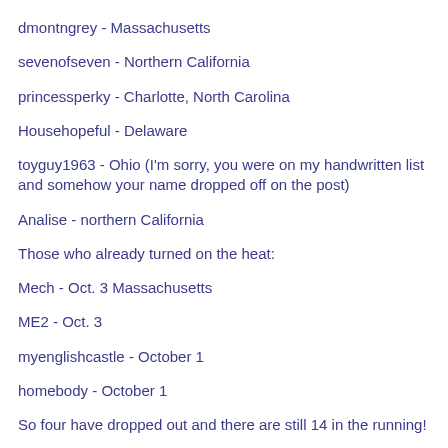dmontngrey - Massachusetts
sevenofseven - Northern California
princessperky - Charlotte, North Carolina
Househopeful - Delaware
toyguy1963 - Ohio (I'm sorry, you were on my handwritten list and somehow your name dropped off on the post)
Analise - northern California
Those who already turned on the heat:
Mech - Oct. 3 Massachusetts
ME2 - Oct. 3
myenglishcastle - October 1
homebody - October 1
So four have dropped out and there are still 14 in the running!